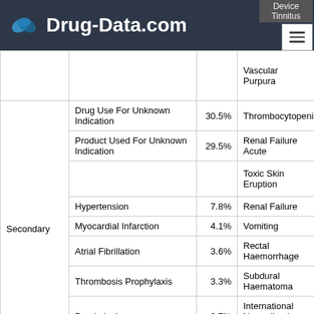Drug-Data.com
|  | Indication | % | Reaction |
| --- | --- | --- | --- |
|  |  |  | Device
Tinnitus |
|  |  |  | Vascular Purpura |
| Secondary | Drug Use For Unknown Indication | 30.5% | Thrombocytopenia |
|  | Product Used For Unknown Indication | 29.5% | Renal Failure Acute |
|  |  |  | Toxic Skin Eruption |
|  | Hypertension | 7.8% | Renal Failure |
|  | Myocardial Infarction | 4.1% | Vomiting |
|  | Atrial Fibrillation | 3.6% | Rectal Haemorrhage |
|  | Thrombosis Prophylaxis | 3.3% | Subdural Haematoma |
|  | Prophylaxis | 2.7% | International Normalised Ratio Increased |
|  | Depression | 2.0% |  |
|  | Type 2 Diabetes | 1.9% |  |